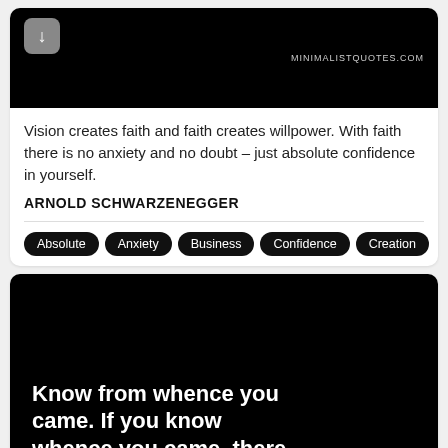[Figure (screenshot): Black card top with download button (grey rounded square with down arrow) on left and MINIMALISTQUOTES.COM text on right]
Vision creates faith and faith creates willpower. With faith there is no anxiety and no doubt – just absolute confidence in yourself.
ARNOLD SCHWARZENEGGER
Absolute
Anxiety
Business
Confidence
Creation
[Figure (screenshot): Black background card with white bold text beginning: Know from whence you came. If you know whence you came, there (text cut off at bottom)]